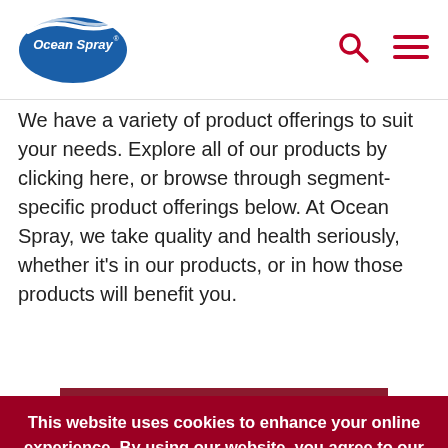[Figure (logo): Ocean Spray logo — white script text on blue oval with wave graphic]
We have a variety of product offerings to suit your needs. Explore all of our products by clicking here, or browse through segment-specific product offerings below. At Ocean Spray, we take quality and health seriously, whether it's in our products, or in how those products will benefit you.
Explore Our Products
This website uses cookies to enhance your online experience. By using our website, you agree to our privacy policy. If you wish to continue, click okay. If not, you may disable cookies; however, this may affect your experience on the site.
Okay